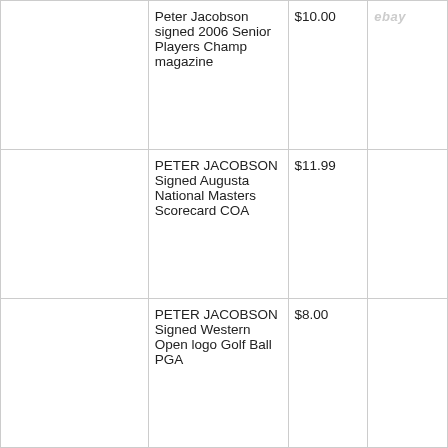| Image | Title | Price | Source |
| --- | --- | --- | --- |
|  | Peter Jacobson signed 2006 Senior Players Champ magazine | $10.00 | ebay |
|  | PETER JACOBSON Signed Augusta National Masters Scorecard COA | $11.99 |  |
|  | PETER JACOBSON Signed Western Open logo Golf Ball PGA | $8.00 |  |